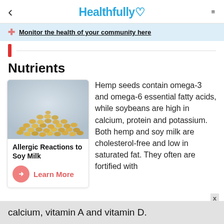Healthfully
Monitor the health of your community here
Nutrients
[Figure (photo): Pile of golden hemp seeds on a light gray background]
Allergic Reactions to Soy Milk
Learn More
Hemp seeds contain omega-3 and omega-6 essential fatty acids, while soybeans are high in calcium, protein and potassium. Both hemp and soy milk are cholesterol-free and low in saturated fat. They often are fortified with calcium, vitamin A and vitamin D.